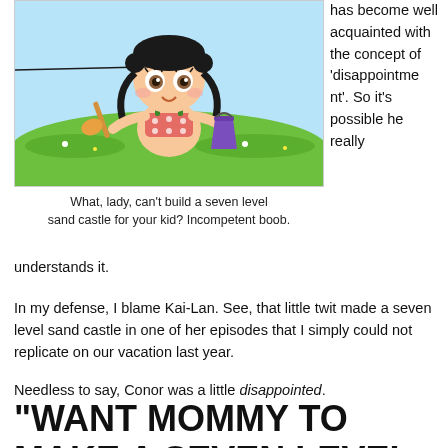[Figure (illustration): Cartoon illustration of a young Asian girl in a swimsuit holding a shovel and bucket, standing on green grass with a light blue sky background.]
What, lady, can't build a seven level sand castle for your kid? Incompetent boob.
has become well acquainted with the concept of 'disappointment'. So it's possible he really understands it.
In my defense, I blame Kai-Lan. See, that little twit made a seven level sand castle in one of her episodes that I simply could not replicate on our vacation last year.
Needless to say, Conor was a little disappointed.
"WANT MOMMY TO MAKE A SEVEN LEVEL SAND CASTLE!" Conor bellowed.